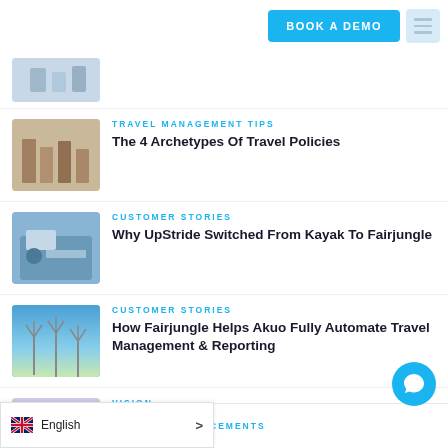BOOK A DEMO
[Figure (photo): Partial thumbnail of people standing, cropped at top]
TRAVEL MANAGEMENT TIPS
The 4 Archetypes Of Travel Policies
[Figure (photo): People working at laptop, travel management context]
CUSTOMER STORIES
Why UpStride Switched From Kayak To Fairjungle
[Figure (photo): Wind turbines under blue sky]
CUSTOMER STORIES
How Fairjungle Helps Akuo Fully Automate Travel Management & Reporting
[Figure (photo): Woman wearing mask checking watch]
VISION
A Vision Of Business Travel After COVID-
CEMENTS